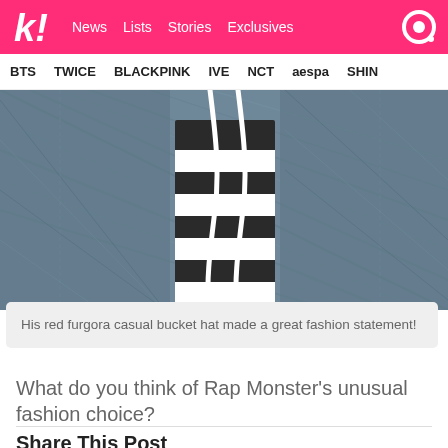k! News Lists Stories Exclusives
BTS TWICE BLACKPINK IVE NCT aespa SHIN
[Figure (photo): Close-up photo of denim fabric with a black and white striped textile and white cord/drawstring visible]
His red furgora casual bucket hat made a great fashion statement!
What do you think of Rap Monster's unusual fashion choice?
Share This Post